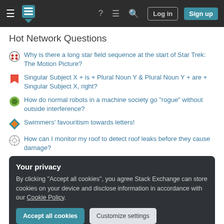Stack Exchange navigation bar with Log in and Sign up buttons
Hot Network Questions
Why is there a long star field sequence at the start of Star Trek: The Motion Picture?
Singular Subject X + is + Plural Noun Y & Plural Noun Y + are + Singular Subject X, right?
How do normal robots in a machine society go "rogue" without outside interference?
Swimmers' favouritism towards letters!
How can I monitor my roof to detect roof leaks before they cause damage?
Your privacy
By clicking "Accept all cookies", you agree Stack Exchange can store cookies on your device and disclose information in accordance with our Cookie Policy.
I want to animate a viscous clay-like object (ball shapes)